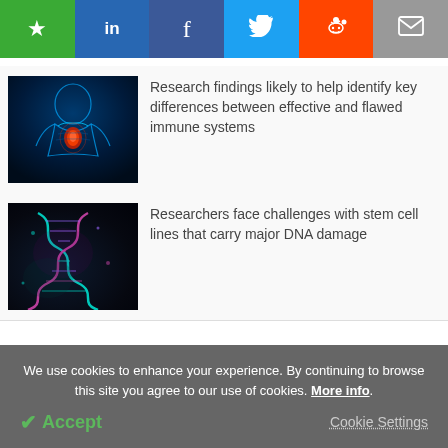[Figure (screenshot): Social sharing toolbar with bookmark (green), LinkedIn (blue), Facebook (dark blue), Twitter (light blue), Reddit (orange), and email (gray) buttons]
[Figure (photo): Blue glowing medical illustration of a human torso showing the thymus gland highlighted in red/orange]
Research findings likely to help identify key differences between effective and flawed immune systems
[Figure (photo): Dark background with glowing pink and teal DNA double helix strand illustration]
Researchers face challenges with stem cell lines that carry major DNA damage
We use cookies to enhance your experience. By continuing to browse this site you agree to our use of cookies. More info.
✔ Accept
Cookie Settings